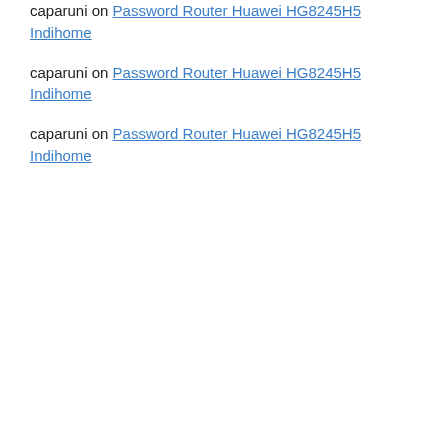caparuni on Password Router Huawei HG8245H5 Indihome (partial, top clipped)
caparuni on Password Router Huawei HG8245H5 Indihome
caparuni on Password Router Huawei HG8245H5 Indihome